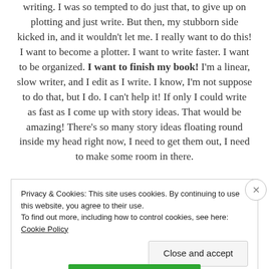writing. I was so tempted to do just that, to give up on plotting and just write. But then, my stubborn side kicked in, and it wouldn't let me. I really want to do this! I want to become a plotter. I want to write faster. I want to be organized. I want to finish my book! I'm a linear, slow writer, and I edit as I write. I know, I'm not suppose to do that, but I do. I can't help it! If only I could write as fast as I come up with story ideas. That would be amazing! There's so many story ideas floating round inside my head right now, I need to get them out, I need to make some room in there.
Privacy & Cookies: This site uses cookies. By continuing to use this website, you agree to their use.
To find out more, including how to control cookies, see here: Cookie Policy
Close and accept